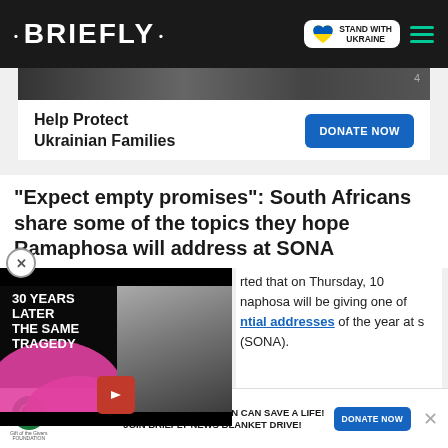• BRIEFLY •
[Figure (screenshot): Dark image strip at top of page showing people]
Help Protect Ukrainian Families
DONATE NOW
"Expect empty promises": South Africans share some of the topics they hope Ramaphosa will address at SONA
[Figure (screenshot): Video thumbnail showing man with text '30 YEARS LATER THE SAME TRAGEDY' with pink blob graphic]
...rted that on Thursday, 10 ...naphosa will be giving one of ...ntial addresses of the year at ...s (SONA).
[Figure (screenshot): Bottom banner ad: Gift of the Givers / Briefly - YOUR LITTLE DONATION CAN SAVE A LIFE! JOIN BRIEFLY NEWS BLANKET DRIVE! DONATE NOW]